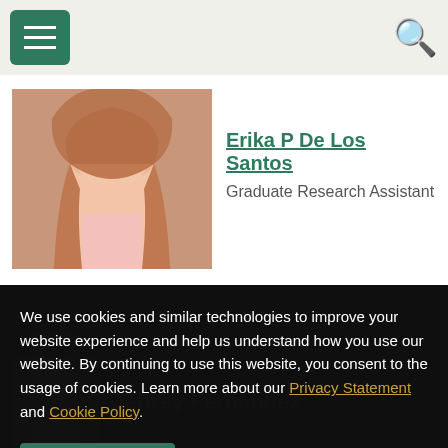Navigation bar with menu and search icons
[Figure (photo): Profile photo of Erika P De Los Santos, a woman with long reddish-brown hair wearing a pink top]
Erika P De Los Santos
Graduate Research Assistant
We use cookies and similar technologies to improve your website experience and help us understand how you use our website. By continuing to use this website, you consent to the usage of cookies. Learn more about our Privacy Statement and Cookie Policy.
Jeffrey Fernandez
Agree
Decline Non-Essential Cookies